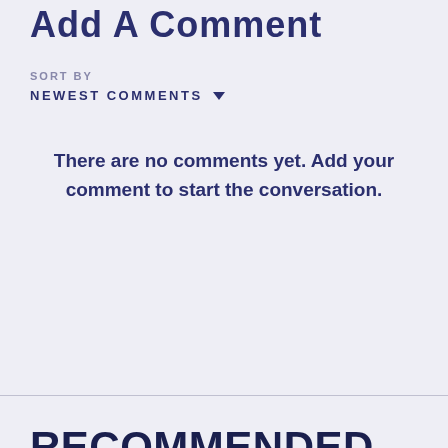Add A Comment
SORT BY
NEWEST COMMENTS
There are no comments yet. Add your comment to start the conversation.
RECOMMENDED STORIES